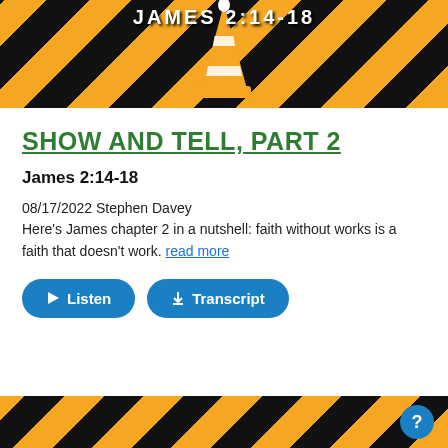[Figure (photo): Top construction-themed image with orange and black diagonal stripes, a traffic cone, and white bold text reading 'JAMES 2:14-18' at the top.]
SHOW AND TELL, PART 2
James 2:14-18
08/17/2022 Stephen Davey
Here's James chapter 2 in a nutshell: faith without works is a faith that doesn't work. read more
[Figure (screenshot): Two teal/blue rounded buttons: a Listen button with play icon and a Transcript button with download icon.]
[Figure (photo): Bottom construction-themed stripe image with orange and black diagonal stripes. A blue circle help/question mark button in the bottom right corner.]